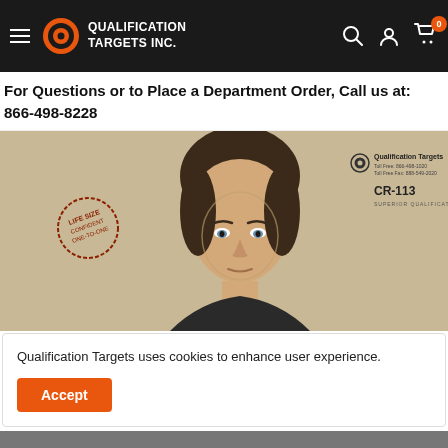Qualification Targets Inc. — navigation bar with hamburger menu, logo, search, account, and cart icons
For Questions or to Place a Department Order, Call us at: 866-498-8228
[Figure (photo): A shooting target card (CR-113) by Qualification Targets showing a life-size photorealistic image of a male person's face and upper body on a tan/beige background. A circular stamp reads 'LIFE SIZE' on the left side. The Qualification Targets logo and contact info appear in the upper right corner with the product code CR-113.]
Qualification Targets uses cookies to enhance user experience.
Accept